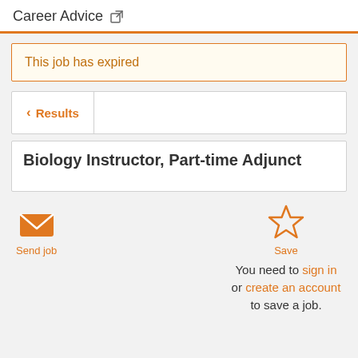Career Advice
This job has expired
Results
Biology Instructor, Part-time Adjunct
[Figure (infographic): Envelope icon for Send job action]
Send job
[Figure (infographic): Star icon for Save action]
Save
You need to sign in or create an account to save a job.